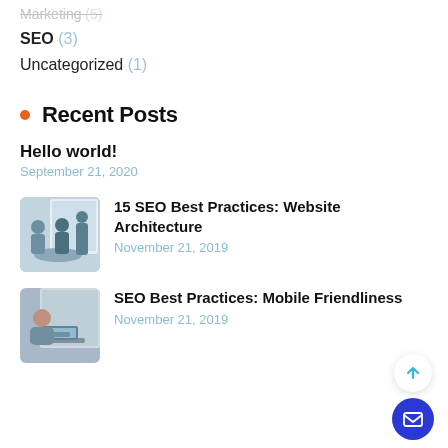Marketing (5)
SEO (3)
Uncategorized (1)
Recent Posts
Hello world!
September 21, 2020
[Figure (photo): Photo of people in a meeting room]
15 SEO Best Practices: Website Architecture
November 21, 2019
[Figure (photo): Photo of a person working on a laptop]
SEO Best Practices: Mobile Friendliness
November 21, 2019